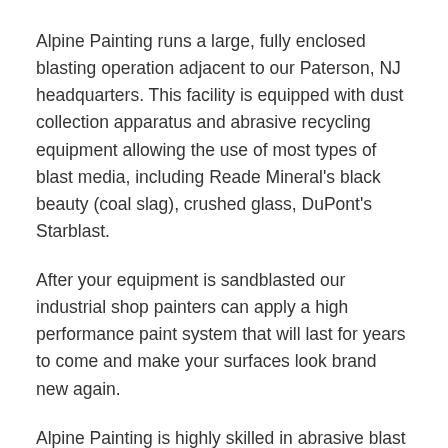Alpine Painting runs a large, fully enclosed blasting operation adjacent to our Paterson, NJ headquarters. This facility is equipped with dust collection apparatus and abrasive recycling equipment allowing the use of most types of blast media, including Reade Mineral's black beauty (coal slag), crushed glass, DuPont's Starblast.
After your equipment is sandblasted our industrial shop painters can apply a high performance paint system that will last for years to come and make your surfaces look brand new again.
Alpine Painting is highly skilled in abrasive blast cleaning in the field, and the related application of general and specialty coatings. We are licensed by the State of New Jersey to perform lead abatement in commercial buildings, and on industrial superstructures. In addition, our confined space training and certification provides our